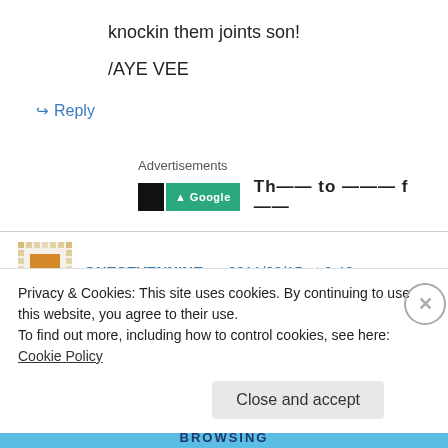knockin them joints son!
/AYE VEE
↪ Reply
Advertisements
[Figure (screenshot): Partial advertisement banner with black and green logo and partial bold text]
ONESEVENNINE on 2011/02/15 at 6:46 am
ALEXIII This is awesome! Mario and all the rest
Privacy & Cookies: This site uses cookies. By continuing to use this website, you agree to their use. To find out more, including how to control cookies, see here: Cookie Policy
Close and accept